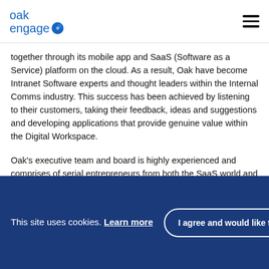oak engage
together through its mobile app and SaaS (Software as a Service) platform on the cloud. As a result, Oak have become Intranet Software experts and thought leaders within the Internal Comms industry. This success has been achieved by listening to their customers, taking their feedback, ideas and suggestions and developing applications that provide genuine value within the Digital Workspace.
Oak's executive team and board is highly experienced and comprises of serial entrepreneurs from both the SaaS world and Intranet sectors.
Originally, Oak's solutions were 'on premise', giving them
This site uses cookies. Learn more
I agree and would like to continue